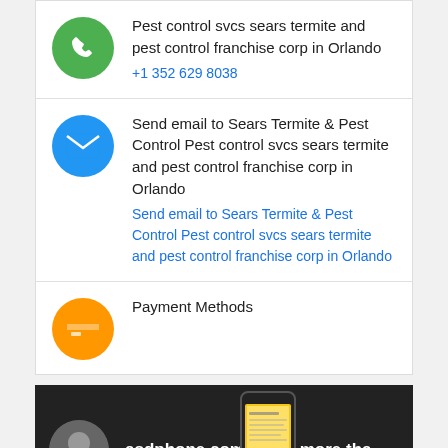Pest control svcs sears termite and pest control franchise corp in Orlando
+1 352 629 8038
Send email to Sears Termite & Pest Control Pest control svcs sears termite and pest control franchise corp in Orlando
Send email to Sears Termite & Pest Control Pest control svcs sears termite and pest control franchise corp in Orlando
Payment Methods
[Figure (screenshot): Video thumbnail showing a YouTube-style embed with a couple profile photo, text 'asdphone.com much more tha...' on dark background, a phone graphic, and a reCAPTCHA badge with 'Privacy - Terms']